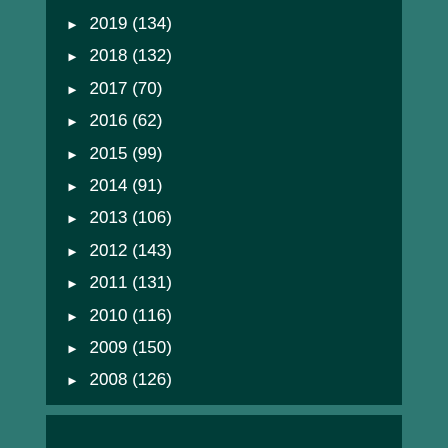► 2019 (134)
► 2018 (132)
► 2017 (70)
► 2016 (62)
► 2015 (99)
► 2014 (91)
► 2013 (106)
► 2012 (143)
► 2011 (131)
► 2010 (116)
► 2009 (150)
► 2008 (126)